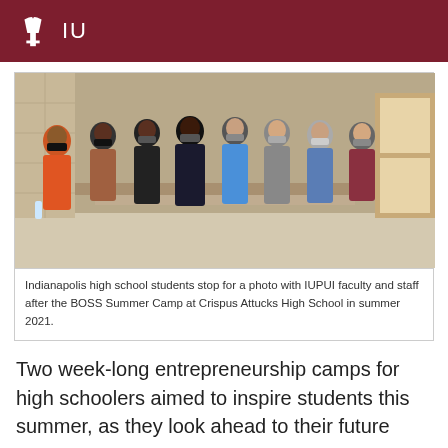IU
[Figure (photo): Group of Indianapolis high school students and IUPUI faculty and staff posing for a photo inside a school building, all wearing masks, after the BOSS Summer Camp at Crispus Attucks High School in summer 2021.]
Indianapolis high school students stop for a photo with IUPUI faculty and staff after the BOSS Summer Camp at Crispus Attucks High School in summer 2021.
Two week-long entrepreneurship camps for high schoolers aimed to inspire students this summer, as they look ahead to their future careers.
The IUPUI Office of Community Engagement and the IU